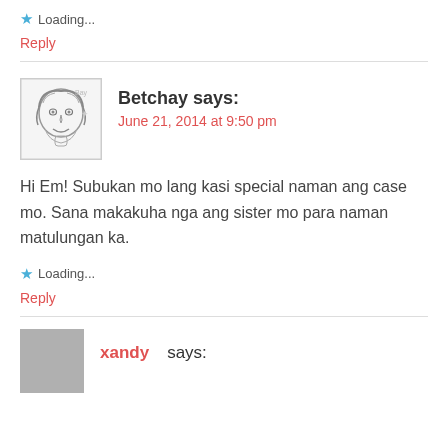★ Loading...
Reply
Betchay says:
June 21, 2014 at 9:50 pm
Hi Em! Subukan mo lang kasi special naman ang case mo. Sana makakuha nga ang sister mo para naman matulungan ka.
★ Loading...
Reply
xandy says: